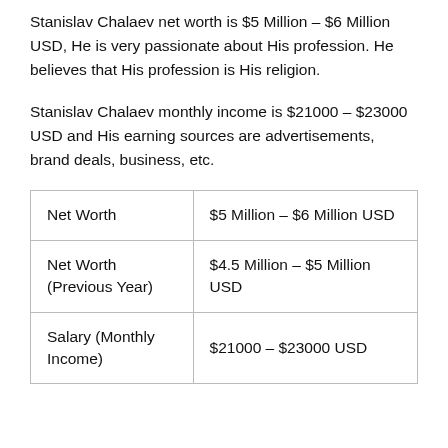Stanislav Chalaev net worth is $5 Million – $6 Million USD, He is very passionate about His profession. He believes that His profession is His religion.
Stanislav Chalaev monthly income is $21000 – $23000 USD and His earning sources are advertisements, brand deals, business, etc.
| Net Worth | $5 Million – $6 Million USD |
| Net Worth (Previous Year) | $4.5 Million – $5 Million USD |
| Salary (Monthly Income) | $21000 – $23000 USD |